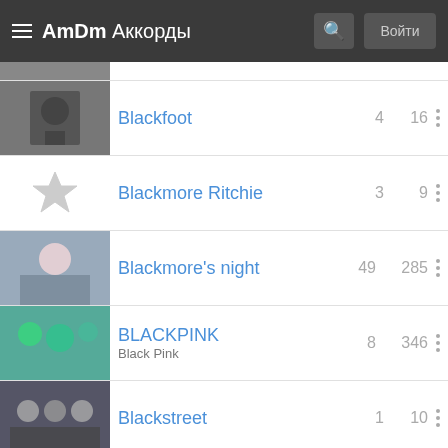AmDm Аккорды
Blackfoot
Blackmore Ritchie
Blackmore's night
BLACKPINK
Blackstreet
Blacktop Mojo
Bla...